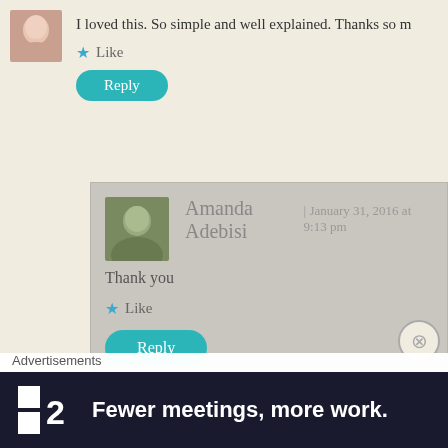[Figure (photo): Small circular/square avatar of a woman with light skin at top left]
I loved this. So simple and well explained. Thanks so m
★ Like
Reply
[Figure (photo): Square avatar of a woman with dark hair (Amanda Adebisi)]
Amanda Adebisi | January 31, 2016 at 9:13 pm
Thank you
★ Like
Reply
[Figure (photo): Small avatar of next commenter Laura Quintus]
Laura Quintus | January 12, 2016 at 6:45 am
Advertisements
[Figure (other): Advertisement banner: Plan logo with two squares and number 2, text Fewer meetings, more work.]